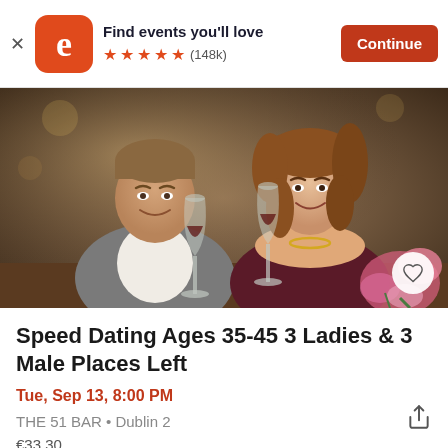Find events you'll love ★★★★★ (148k) Continue
[Figure (photo): A man and woman smiling and clinking wine glasses with red wine in a restaurant/bar setting. The man wears a grey blazer and white shirt; the woman wears a dark off-shoulder dress with a gold necklace. Pink flowers are visible in the foreground right.]
Speed Dating Ages 35-45 3 Ladies & 3 Male Places Left
Tue, Sep 13, 8:00 PM
THE 51 BAR • Dublin 2
€33.30